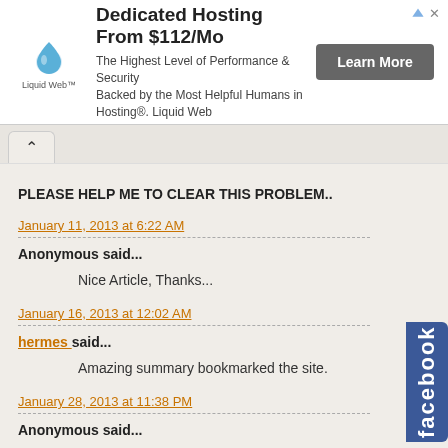[Figure (infographic): Liquid Web advertisement banner: logo with water drop icon and 'Liquid Web' text, headline 'Dedicated Hosting From $112/Mo', description 'The Highest Level of Performance & Security Backed by the Most Helpful Humans in Hosting®. Liquid Web', and a 'Learn More' button. Ad attribution icons in top right corner.]
PLEASE HELP ME TO CLEAR THIS PROBLEM..
January 11, 2013 at 6:22 AM
Anonymous said...
Nice Article, Thanks...
January 16, 2013 at 12:02 AM
hermes said...
Amazing summary bookmarked the site.
January 28, 2013 at 11:38 PM
Anonymous said...